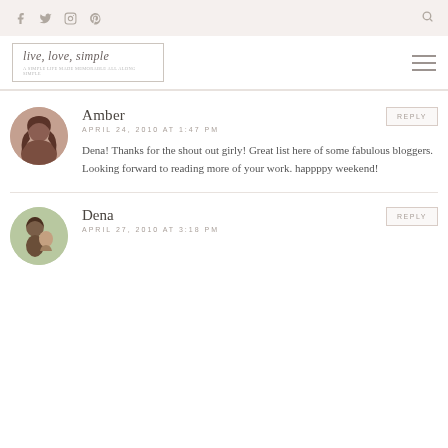Social icons: Facebook, Twitter, Instagram, Pinterest, Search
[Figure (logo): live.love.simple blog logo in italic script inside a bordered box, with hamburger menu icon on right]
Amber
APRIL 24, 2010 AT 1:47 PM
Dena! Thanks for the shout out girly! Great list here of some fabulous bloggers. Looking forward to reading more of your work. happppy weekend!
Dena
APRIL 27, 2010 AT 3:18 PM